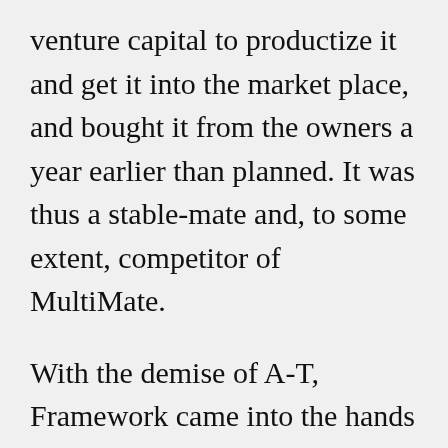venture capital to productize it and get it into the market place, and bought it from the owners a year earlier than planned. It was thus a stable-mate and, to some extent, competitor of MultiMate.

With the demise of A-T, Framework came into the hands of Novell who took it from version III to IV, then sold it (competing with dBase?) on to Borland who possibly found it competing with their Sprint spreadsheet, and withdrew it from the market. An independent developer,